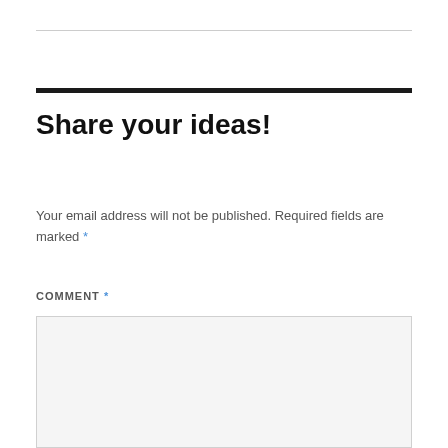Share your ideas!
Your email address will not be published. Required fields are marked *
COMMENT *